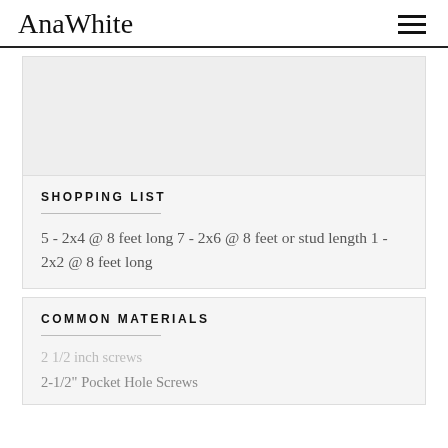AnaWhite
[Figure (other): Gray placeholder image area]
SHOPPING LIST
5 - 2x4 @ 8 feet long 7 - 2x6 @ 8 feet or stud length 1 - 2x2 @ 8 feet long
COMMON MATERIALS
2 1/2 inch screws
2-1/2" Pocket Hole Screws